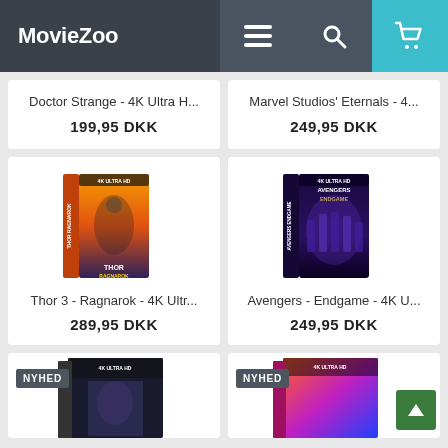MovieZoo
Doctor Strange - 4K Ultra H...
199,95 DKK
Marvel Studios' Eternals - 4...
249,95 DKK
[Figure (photo): Thor 3 Ragnarok 4K Ultra HD Blu-ray box art product image]
Thor 3 - Ragnarok - 4K Ultr...
289,95 DKK
[Figure (photo): Avengers Endgame 4K Ultra HD Blu-ray box art product image]
Avengers - Endgame - 4K U...
249,95 DKK
[Figure (photo): NYHED product bottom partial view with NYHED badge]
[Figure (photo): NYHED product bottom partial view with NYHED badge]